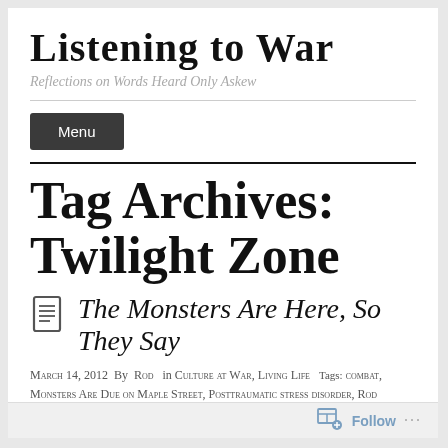Listening to War
Reflections on Words Heard Only Askew
Menu
Tag Archives: Twilight Zone
The Monsters Are Here, So They Say
March 14, 2012  By  Rod  in Culture at War, Living Life  Tags: combat, Monsters Are Due on Maple Street, Posttraumatic stress disorder, Rod Serling, Traumatic brain injury, Twilight Zone, veteran  Leave a
Follow ...